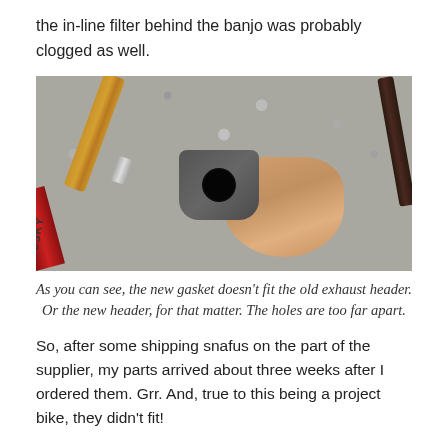the in-line filter behind the banjo was probably clogged as well.
[Figure (photo): A hand holding a circular metal exhaust header gasket/banjo fitting over gravel, with a wooden-handled tool and dark screwdriver nearby, and a red Husky tool visible at lower left.]
As you can see, the new gasket doesn’t fit the old exhaust header. Or the new header, for that matter. The holes are too far apart.
So, after some shipping snafus on the part of the supplier, my parts arrived about three weeks after I ordered them. Grr. And, true to this being a project bike, they didn’t fit!